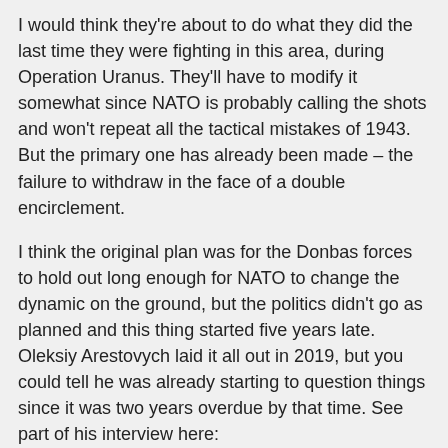I would think they're about to do what they did the last time they were fighting in this area, during Operation Uranus. They'll have to modify it somewhat since NATO is probably calling the shots and won't repeat all the tactical mistakes of 1943. But the primary one has already been made – the failure to withdraw in the face of a double encirclement.
I think the original plan was for the Donbas forces to hold out long enough for NATO to change the dynamic on the ground, but the politics didn't go as planned and this thing started five years late. Oleksiy Arestovych laid it all out in 2019, but you could tell he was already starting to question things since it was two years overdue by that time. See part of his interview here:
https://bombardsbodylanguage.com/2022/03/18/body-language-zelenskys-advisor-oleksiy-arestovych-in-2019-interview/
The Axis seige of Odessa was a costly affair that required more than two months and four attempts before success, and I would expect the Russians will simply isolate it from the north and northeast with a covering force when they go into Kiev. And they will go into Kiev before this is done, though they won't face much